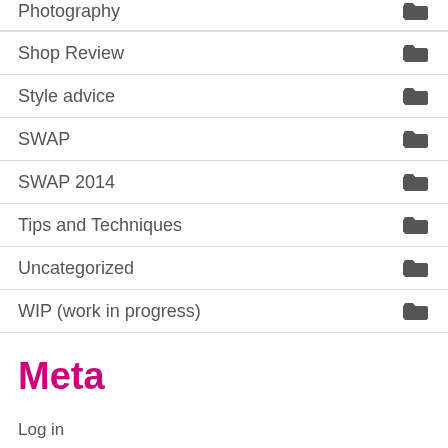Photography
Shop Review
Style advice
SWAP
SWAP 2014
Tips and Techniques
Uncategorized
WIP (work in progress)
Meta
Log in
Entries RSS
Comments RSS